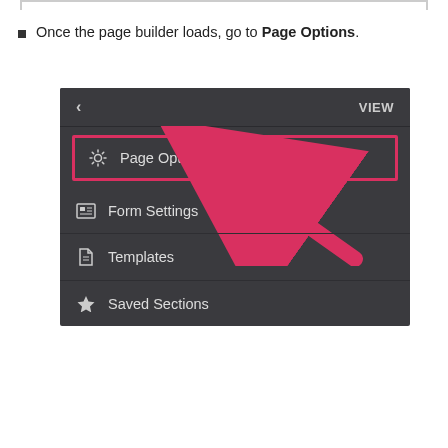Once the page builder loads, go to Page Options.
[Figure (screenshot): Screenshot of a dark-themed page builder sidebar menu showing options: Page Options (highlighted with red border and red arrow pointing to it), Form Settings, Templates, and Saved Sections. Top bar shows a back arrow and VIEW text.]